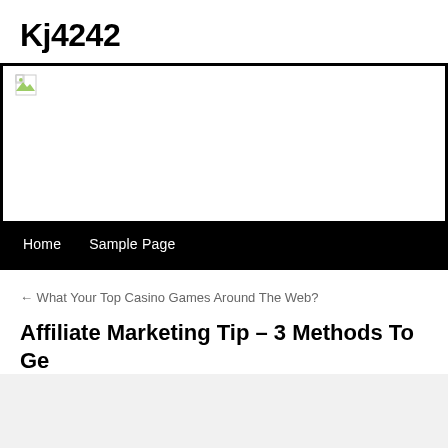Kj4242
[Figure (photo): Broken/missing header image with small broken image icon in top-left corner]
Home   Sample Page
← What Your Top Casino Games Around The Web?
Affiliate Marketing Tip – 3 Methods To Ge